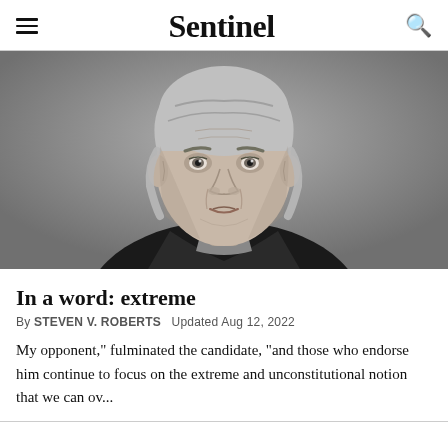Sentinel
[Figure (photo): Black and white portrait photograph of an older man with gray hair wearing a dark blazer and plaid shirt, looking slightly to the side against a gray background.]
In a word: extreme
By STEVEN V. ROBERTS   Updated Aug 12, 2022
My opponent," fulminated the candidate, "and those who endorse him continue to focus on the extreme and unconstitutional notion that we can ov...